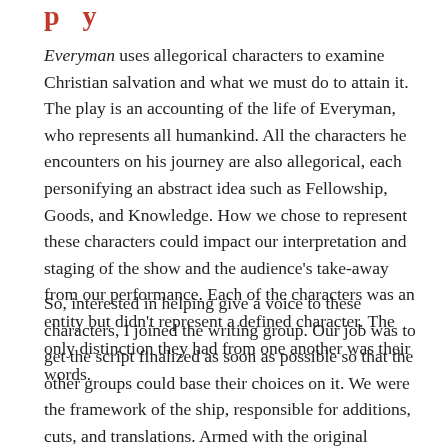p y
Everyman uses allegorical characters to examine Christian salvation and what we must do to attain it. The play is an accounting of the life of Everyman, who represents all humankind. All the characters he encounters on his journey are also allegorical, each personifying an abstract idea such as Fellowship, Goods, and Knowledge. How we chose to represent these characters could impact our interpretation and staging of the show and the audience's take-away from our performance. Each of the characters was an entity but didn't represent a defined character. The only distinction they had from one another was their words.
So, interested in helping give a voice to these characters, I joined the writing group. Our job was to get the script finalized as soon as possible so that the other groups could base their choices on it. We were the framework of the ship, responsible for additions, cuts, and translations. Armed with the original Middle English text and a semi-